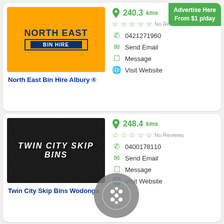[Figure (logo): North East Bin Hire logo on orange background — dark blue trapezoid shape with NORTH EAST above and BIN HIRE below on blue rectangle]
North East Bin Hire Albury ®
Advertise Here From $1 p/day
240.3kms
No Reviews
0421271960
Send Email
Message
Visit Website
[Figure (logo): Twin City Skip Bins logo — white bold italic text on dark/black textured background]
Twin City Skip Bins Wodonga
248.4kms
No Reviews
0400178110
Send Email
Message
Visit Website
278.3kms